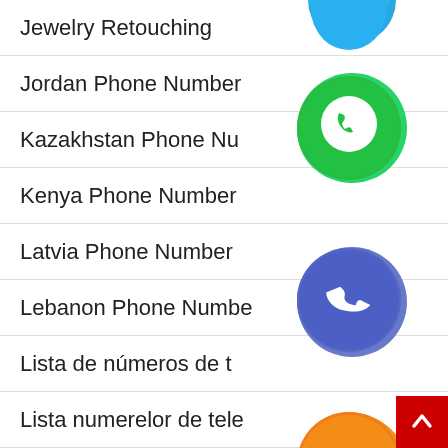Jewelry Retouching
Jordan Phone Number
Kazakhstan Phone Nu
Kenya Phone Number
Latvia Phone Number
Lebanon Phone Number
Lista de números de t
Lista numerelor de tele
Liste des numéros de téléphone
[Figure (infographic): Floating social media/contact app icon buttons overlaid on list: WhatsApp (green), phone/Viber-style (blue/purple), email (orange), LINE (green), Viber (purple), close/X (green), plus partial blue circle at top]